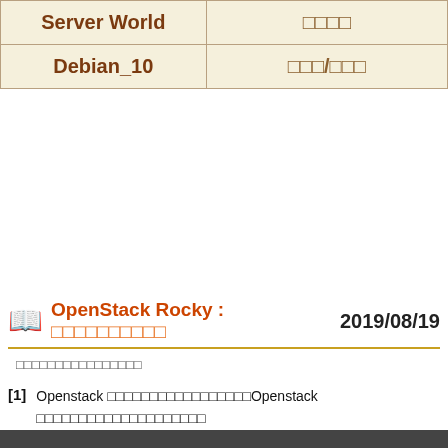| Server World | □□□□ |
| Debian_10 | □□□/□□□ |
OpenStack Rocky : □□□□□□□□□□   2019/08/19
□□□□□□□□□□□□□□□□
[1]  Openstack □□□□□□□□□□□□□□□□□Openstack □□□□□□□□□□□□□□□□□□□□□□□/□□□□□□ □□□□□□□□□□□□□□□□□□/□□□□□□ Keystone □□□□□□□□□□□□